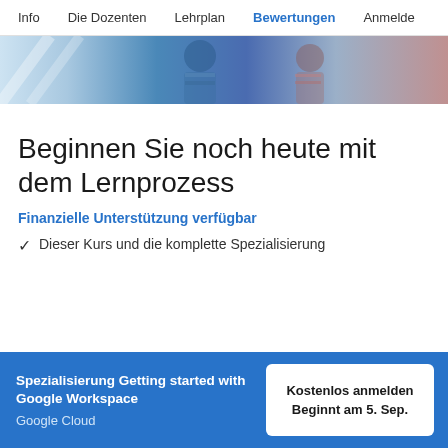Info   Die Dozenten   Lehrplan   Bewertungen   Anmelde
[Figure (photo): Partial view of course banner image showing people]
Beginnen Sie noch heute mit dem Lernprozess
Finanzielle Unterstützung verfügbar
Dieser Kurs und die komplette Spezialisierung
Spezialisierung Getting started with Google Workspace
Google Cloud
Kostenlos anmelden
Beginnt am 5. Sep.